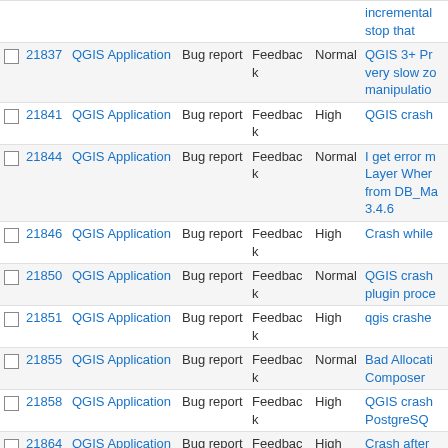|  | # | Project | Tracker | Status | Priority | Subject |
| --- | --- | --- | --- | --- | --- | --- |
|  |  |  |  |  |  | incremental stop that |
| ☐ | 21837 | QGIS Application | Bug report | Feedback | Normal | QGIS 3+ Pr very slow zo manipulatio |
| ☐ | 21841 | QGIS Application | Bug report | Feedback | High | QGIS crash |
| ☐ | 21844 | QGIS Application | Bug report | Feedback | Normal | I get error m Layer Wher from DB_Ma 3.4.6 |
| ☐ | 21846 | QGIS Application | Bug report | Feedback | High | Crash while |
| ☐ | 21850 | QGIS Application | Bug report | Feedback | Normal | QGIS crash plugin proce |
| ☐ | 21851 | QGIS Application | Bug report | Feedback | High | qgis crashe |
| ☐ | 21855 | QGIS Application | Bug report | Feedback | Normal | Bad Allocati Composer |
| ☐ | 21858 | QGIS Application | Bug report | Feedback | High | QGIS crash PostgreSQ |
| ☐ | 21864 | QGIS Application | Bug report | Feedback | High | Crash after |
| ☐ | 21874 | QGIS Application | Bug report | Feedback | Normal | Zoom to sel working |
| ☐ | 21886 | QGIS Application | Bug report | Feedback | Normal | QGIS Crash |
| ☐ | 21898 | QGIS Application | Bug report | Feedback | High | Pip under P 3.6.2 doesn |
| ☐ | 21919 | QGIS Application | Bug report | Feedback | High | QGIS crash |
| ☐ | 21920 | QGIS Application | Bug report | Feedback | High | Points Geom Cluster |
| ☐ | 21921 | QGIS Application | Bug report | Feedback | High | 3.6.2 crashe edit bad top |
| ☐ | 21922 | QGIS Application | Bug report | Feedback | Normal | shapefile... |